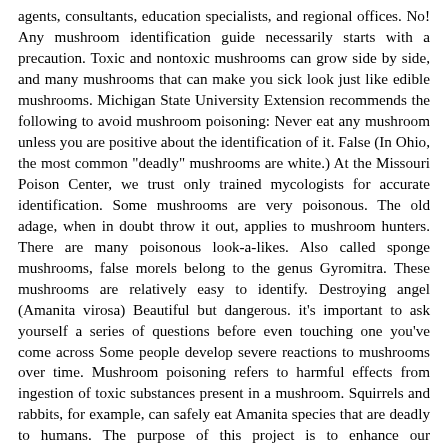agents, consultants, education specialists, and regional offices. No! Any mushroom identification guide necessarily starts with a precaution. Toxic and nontoxic mushrooms can grow side by side, and many mushrooms that can make you sick look just like edible mushrooms. Michigan State University Extension recommends the following to avoid mushroom poisoning: Never eat any mushroom unless you are positive about the identification of it. False (In Ohio, the most common "deadly" mushrooms are white.) At the Missouri Poison Center, we trust only trained mycologists for accurate identification. Some mushrooms are very poisonous. The old adage, when in doubt throw it out, applies to mushroom hunters. There are many poisonous look-a-likes. Also called sponge mushrooms, false morels belong to the genus Gyromitra. These mushrooms are relatively easy to identify. Destroying angel (Amanita virosa) Beautiful but dangerous. it's important to ask yourself a series of questions before even touching one you've come across Some people develop severe reactions to mushrooms over time. Mushroom poisoning refers to harmful effects from ingestion of toxic substances present in a mushroom. Squirrels and rabbits, for example, can safely eat Amanita species that are deadly to humans. The purpose of this project is to enhance our understanding of the distribution of mushrooms and other fungi in Texas. Destroying angel can be found in mixed â¦ Poisonous mushrooms may also cause allergic-type reactions, or cause hallucinogenic reactions. Click on the pictures to enlarge them